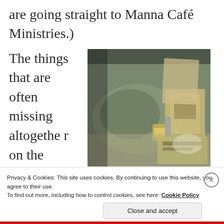are going straight to Manna Café Ministries.)
The things that are often missing altogether on the streets are the things we take for
[Figure (photo): A photo showing a backpack and cardboard box with canned goods and other items scattered on the ground, in a desaturated teal/sepia tone]
Privacy & Cookies: This site uses cookies. By continuing to use this website, you agree to their use.
To find out more, including how to control cookies, see here: Cookie Policy
Close and accept